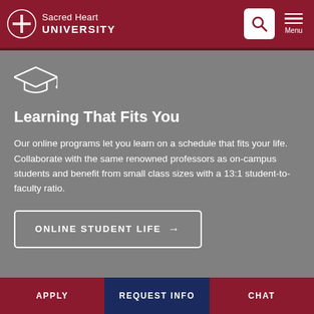Sacred Heart UNIVERSITY
[Figure (illustration): White graduation cap icon on gray background]
Learning That Fits You
Our online programs let you learn on a schedule that fits your life. Collaborate with the same renowned professors as on-campus students and benefit from small class sizes with a 13:1 student-to-faculty ratio.
ONLINE STUDENT LIFE →
APPLY | REQUEST INFO | CHAT